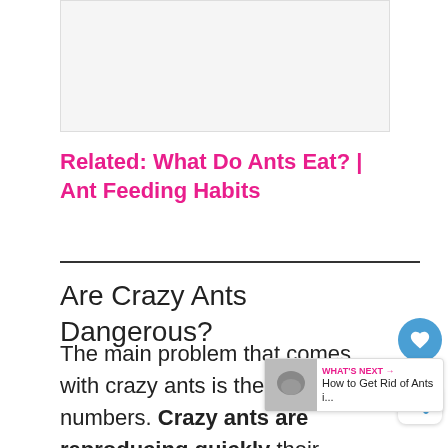[Figure (other): Advertisement placeholder banner at top of page]
Related: What Do Ants Eat? | Ant Feeding Habits
Are Crazy Ants Dangerous?
The main problem that comes with crazy ants is their large numbers. Crazy ants are reproducing quickly their unusual moving patterns make